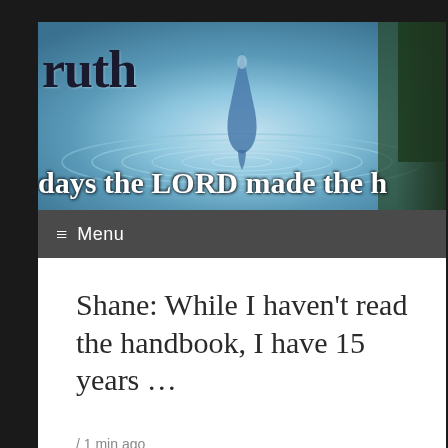[Figure (photo): Website banner image showing a water droplet splash with ripple rings on a blue water surface. Text 'ruth' visible in bold dark letters on the top left, and text 'days the LORD made the h' visible at the bottom of the banner in white bold letters.]
≡ Menu
Shane: While I haven’t read the handbook, I have 15 years …
/ 1 min ago
Comment on Bradley, Beach and Kaatz retain